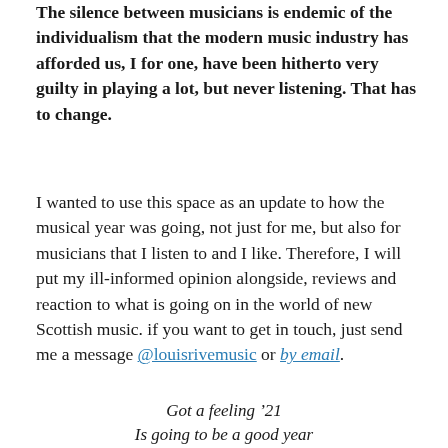The silence between musicians is endemic of the individualism that the modern music industry has afforded us, I for one, have been hitherto very guilty in playing a lot, but never listening. That has to change.
I wanted to use this space as an update to how the musical year was going, not just for me, but also for musicians that I listen to and I like. Therefore, I will put my ill-informed opinion alongside, reviews and reaction to what is going on in the world of new Scottish music. if you want to get in touch, just send me a message @louisrivemusic or by email.
Got a feeling '21
Is going to be a good year